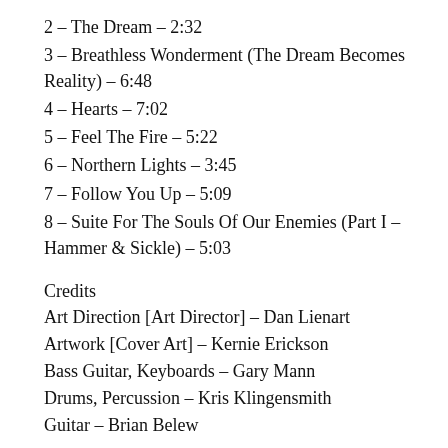2 – The Dream – 2:32
3 – Breathless Wonderment (The Dream Becomes Reality) – 6:48
4 – Hearts – 7:02
5 – Feel The Fire – 5:22
6 – Northern Lights – 3:45
7 – Follow You Up – 5:09
8 – Suite For The Souls Of Our Enemies (Part I – Hammer & Sickle) – 5:03
Credits
Art Direction [Art Director] – Dan Lienart
Artwork [Cover Art] – Kernie Erickson
Bass Guitar, Keyboards – Gary Mann
Drums, Percussion – Kris Klingensmith
Guitar – Brian Belew